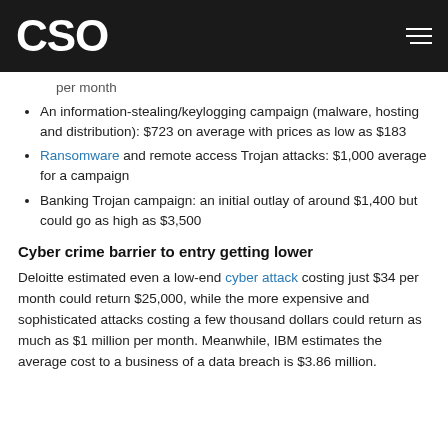CSO
per month
An information-stealing/keylogging campaign (malware, hosting and distribution): $723 on average with prices as low as $183
Ransomware and remote access Trojan attacks: $1,000 average for a campaign
Banking Trojan campaign: an initial outlay of around $1,400 but could go as high as $3,500
Cyber crime barrier to entry getting lower
Deloitte estimated even a low-end cyber attack costing just $34 per month could return $25,000, while the more expensive and sophisticated attacks costing a few thousand dollars could return as much as $1 million per month. Meanwhile, IBM estimates the average cost to a business of a data breach is $3.86 million.